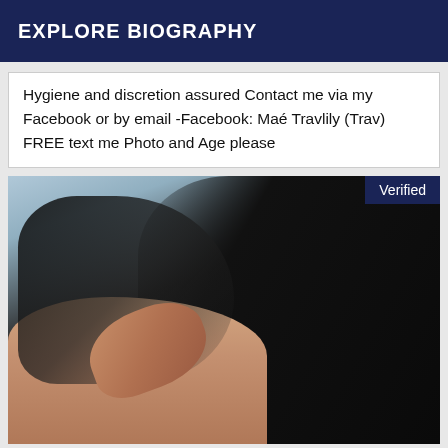EXPLORE BIOGRAPHY
Hygiene and discretion assured Contact me via my Facebook or by email -Facebook: Maé Travlily (Trav) FREE text me Photo and Age please
[Figure (photo): A person with long dark curly hair wearing black lace fabric, with a hand visible showing dark nail polish and a bracelet. A 'Verified' badge appears in the top-right corner of the image.]